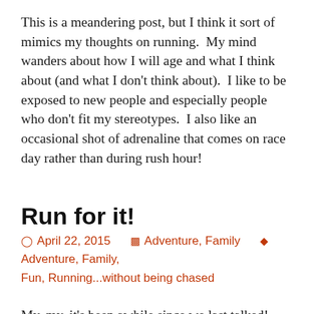This is a meandering post, but I think it sort of mimics my thoughts on running.  My mind wanders about how I will age and what I think about (and what I don't think about).  I like to be exposed to new people and especially people who don't fit my stereotypes.  I also like an occasional shot of adrenaline that comes on race day rather than during rush hour!
Run for it!
April 22, 2015    Adventure, Family    Adventure, Family, Fun, Running...without being chased
My, my, it's been awhile since we last talked!  Lots of things have been going down around here lately and it's time for us to catch up!